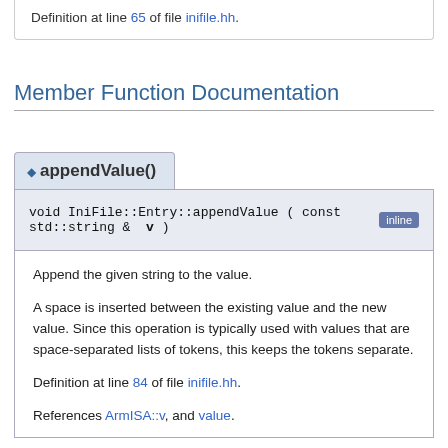Definition at line 65 of file inifile.hh.
Member Function Documentation
◆ appendValue()
void IniFile::Entry::appendValue ( const std::string & v )
Append the given string to the value.
A space is inserted between the existing value and the new value. Since this operation is typically used with values that are space-separated lists of tokens, this keeps the tokens separate.
Definition at line 84 of file inifile.hh.
References ArmISA::v, and value.